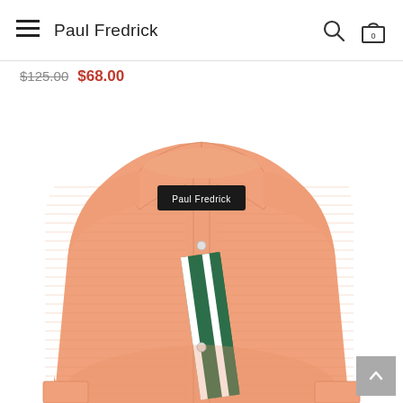Paul Fredrick
$125.00  $68.00
[Figure (photo): Folded salmon/peach colored dress shirt from Paul Fredrick, with a visible collar, button placket with dark green and white stripe trim, and a Paul Fredrick label on the collar.]